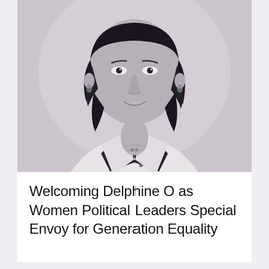[Figure (photo): Black and white portrait photo of Delphine O, a woman with shoulder-length dark hair, wearing a light-colored blazer over a dark floral top, with a necklace, smiling slightly against a light background.]
Welcoming Delphine O as Women Political Leaders Special Envoy for Generation Equality